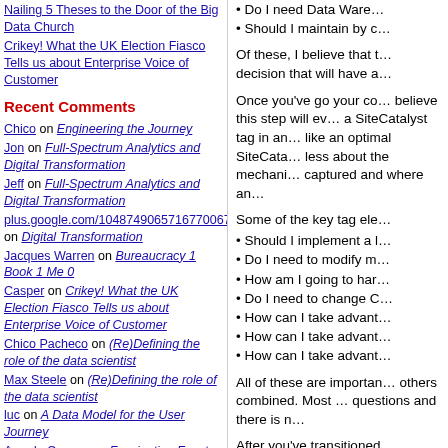Nailing 5 Theses to the Door of the Big Data Church
Crikey! What the UK Election Fiasco Tells us about Enterprise Voice of Customer
Recent Comments
Chico on Engineering the Journey
Jon on Full-Spectrum Analytics and Digital Transformation
Jeff on Full-Spectrum Analytics and Digital Transformation
plus.google.com/104874906571677006? on Digital Transformation
Jacques Warren on Bureaucracy 1 Book 1 Me 0
Casper on Crikey! What the UK Election Fiasco Tells us about Enterprise Voice of Customer
Chico Pacheco on (Re)Defining the role of the data scientist
Max Steele on (Re)Defining the role of the data scientist
luc on A Data Model for the User Journey
Amado Cramer on Fascinating Facets
Semphonic Blogs
Allison Hartsoe
• Do I need Data Ware...
• Should I maintain by c...
Of these, I believe that t... decision that will have a...
Once you've go your co... believe this step will ev... a SiteCatalyst tag in an... like an optimal SiteCata... less about the mechani... captured and where an...
Some of the key tag ele...
• Should I implement a l...
• Do I need to modify m...
• How am I going to har...
• Do I need to change C...
• How can I take advant...
• How can I take advant...
• How can I take advant...
All of these are importan... others combined. Most... questions and there is n...
After you've transitioned... including transitionin...